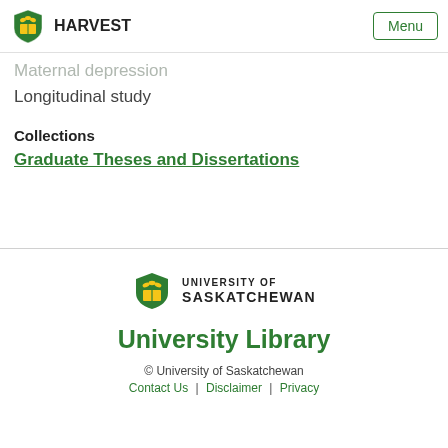HARVEST | Menu
Antenatal depression
Maternal depression
Longitudinal study
Collections
Graduate Theses and Dissertations
University of Saskatchewan
University Library
© University of Saskatchewan
Contact Us | Disclaimer | Privacy